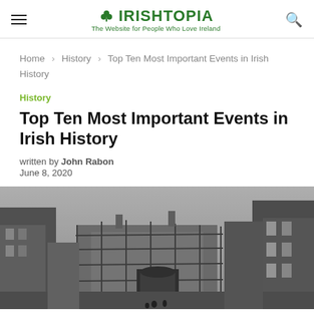IRISHTOPIA — The Website for People Who Love Ireland
Home > History > Top Ten Most Important Events in Irish History
History
Top Ten Most Important Events in Irish History
written by John Rabon
June 8, 2020
[Figure (photo): Black and white historical photograph of an Irish street scene with a building under scaffolding, tall buildings on either side, overcast sky.]